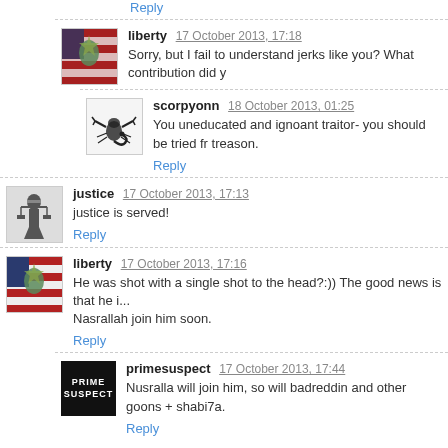Reply
liberty 17 October 2013, 17:18 — Sorry, but I fail to understand jerks like you? What contribution did y
Reply
scorpyonn 18 October 2013, 01:25 — You uneducated and ignoant traitor- you should be tried fr treason.
Reply
justice 17 October 2013, 17:13 — justice is served!
Reply
liberty 17 October 2013, 17:16 — He was shot with a single shot to the head?:)) The good news is that he i... Nasrallah join him soon.
Reply
primesuspect 17 October 2013, 17:44 — Nusralla will join him, so will badreddin and other goons + shabi7a.
Reply